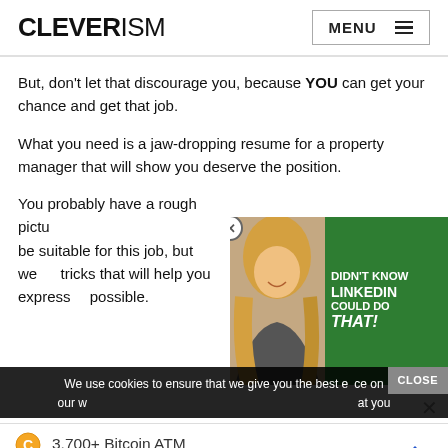CLEVERISM | MENU
But, don’t let that discourage you, because YOU can get your chance and get that job.
What you need is a jaw-dropping resume for a property manager that will show you deserve the position.
You probably have a rough picture of what does it take to be suitable for this job, but we… tricks that will help you express… possible.
[Figure (photo): Advertisement overlay showing a woman with blonde hair smiling, with green background text reading DIDN'T KNOW LINKEDIN COULD DO THAT!]
We use cookies to ensure that we give you the best experience on our w… at you
[Figure (infographic): Bitcoin ATM advertisement: 3,700+ Bitcoin ATM Locations Nationwide! Find Yours Today. With Coin Cloud and navigation arrow icons.]